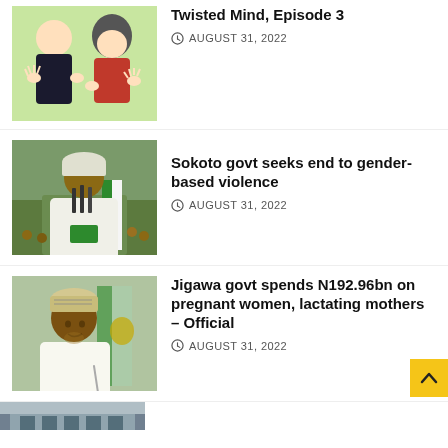[Figure (illustration): Cartoon illustration of two anime-style characters, one in black and one in red]
Twisted Mind, Episode 3
AUGUST 31, 2022
[Figure (photo): Man in white traditional attire and cap speaking at a podium with microphones]
Sokoto govt seeks end to gender-based violence
AUGUST 31, 2022
[Figure (photo): Elderly man in white traditional attire and embroidered cap]
Jigawa govt spends N192.96bn on pregnant women, lactating mothers – Official
AUGUST 31, 2022
[Figure (photo): Partial view of a building interior, cropped at bottom of page]